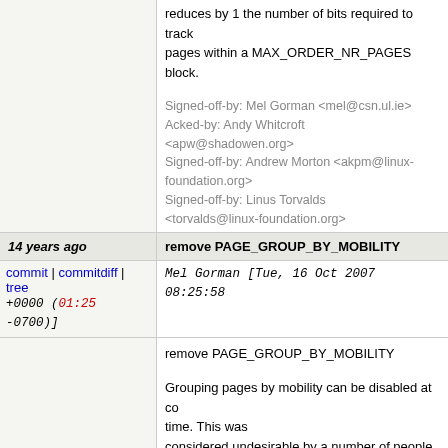reduces by 1 the number of bits required to track pages within a MAX_ORDER_NR_PAGES block.
Signed-off-by: Mel Gorman <mel@csn.ul.ie>
Acked-by: Andy Whitcroft <apw@shadowen.org>
Signed-off-by: Andrew Morton <akpm@linux-foundation.org>
Signed-off-by: Linus Torvalds <torvalds@linux-foundation.org>
14 years ago   remove PAGE_GROUP_BY_MOBILITY
Mel Gorman [Tue, 16 Oct 2007 08:25:58 +0000 (01:25 -0700)]
remove PAGE_GROUP_BY_MOBILITY

Grouping pages by mobility can be disabled at compile time. This was considered undesirable by a number of people. However, patches, it is not a simple case of just dropping the patches as that would cause merge conflicts. This patch backs ou
Signed-off-by: Mel Gorman <mel@csn.ul.ie>
Acked-by: Andy Whitcroft <apw@shadowen.org>
Signed-off-by: Andrew Morton <akpm@linux-foundation.org>
Signed-off-by: Linus Torvalds <torvalds@linux-foundation.org>